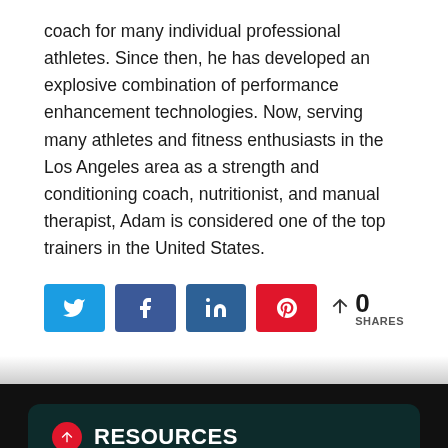coach for many individual professional athletes. Since then, he has developed an explosive combination of performance enhancement technologies. Now, serving many athletes and fitness enthusiasts in the Los Angeles area as a strength and conditioning coach, nutritionist, and manual therapist, Adam is considered one of the top trainers in the United States.
[Figure (infographic): Social share bar with Twitter, Facebook, LinkedIn, Pinterest buttons and a share count of 0 SHARES]
RESOURCES
Shop
Articles